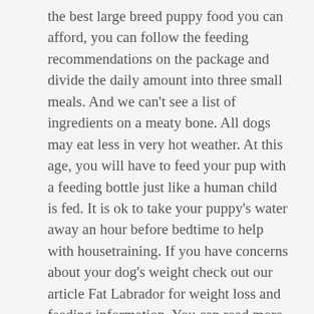the best large breed puppy food you can afford, you can follow the feeding recommendations on the package and divide the daily amount into three small meals. And we can't see a list of ingredients on a meaty bone. All dogs may eat less in very hot weather. At this age, you will have to feed your pup with a feeding bottle just like a human child is fed. It is ok to take your puppy's water away an hour before bedtime to help with housetraining. If you have concerns about your dog's weight check out our article Fat Labrador for weight loss and feeding information. You can read more about the pros and cons of raw feeding on our The Happy Puppy site. You can begin by feeding four meals a day to your 8 to 12 weeks old puppy, and have a time marked for each. The best Labrador food won't be the same for every dog in the breed. However, a larger dog breed like a Labrador will need another 4 to 6 months to